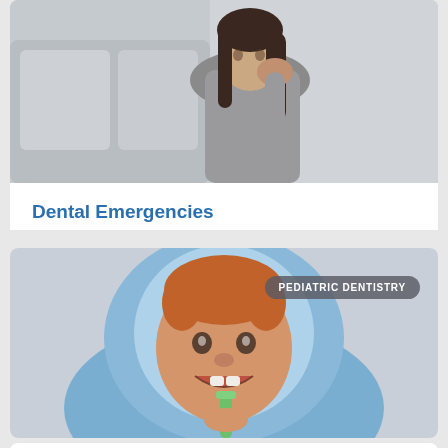[Figure (photo): Woman sitting on couch holding her cheek/jaw in pain, dental emergency photo]
Dental Emergencies
[Figure (photo): Young toddler with red hair wrapped in blue towel, smiling and holding a green toothbrush, pediatric dentistry photo]
PEDIATRIC DENTISTRY